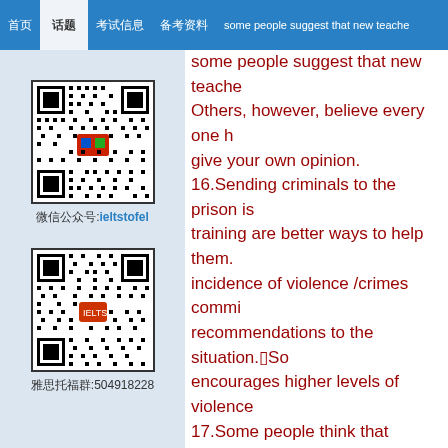some people suggest that new teachers...
[Figure (other): QR code with label ieltstofel]
微信公众号:ieltstofel
[Figure (other): QR code with label 504918228]
雅思托福群:504918228
some people suggest that new teachers... Others, however, believe every one h... give your own opinion. 16.Sending criminals to the prison is ... training are better ways to help them.... incidence of violence /crimes commi... recommendations to the situation.■So... encourages higher levels of violence ... 17.Some people think that children o... that it's better to teach the intelligent... use your own ideas of knowledge an... relevant evidence.■In the past people... believed that education is for a perso... specific details. ■A lot of countries ha... advantages and disadvantages of uni... 18.In some countries, advertisers incr...